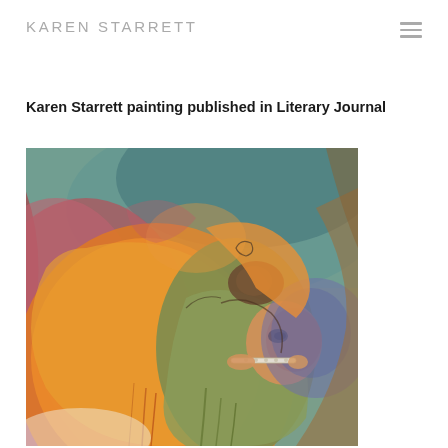KAREN STARRETT
Karen Starrett painting published in Literary Journal
[Figure (illustration): Abstract expressionist painting with swirling forms in orange, green, blue, red, and earth tones. Features overlapping circular and organic shapes suggesting figures. One figure appears to hold a flute or similar instrument near another figure's mouth. Colors include warm oranges, muted greens, purples, and blues with flowing line details.]